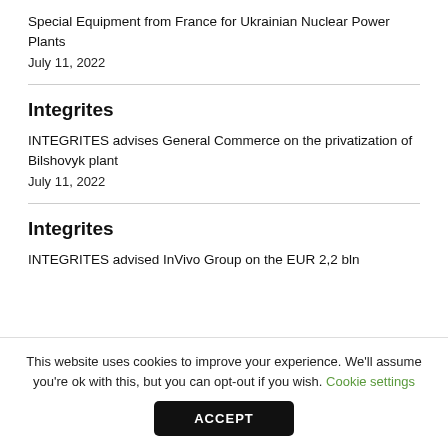Special Equipment from France for Ukrainian Nuclear Power Plants
July 11, 2022
Integrites
INTEGRITES advises General Commerce on the privatization of Bilshovyk plant
July 11, 2022
Integrites
INTEGRITES advised InVivo Group on the EUR 2,2 bln
This website uses cookies to improve your experience. We'll assume you're ok with this, but you can opt-out if you wish. Cookie settings
ACCEPT